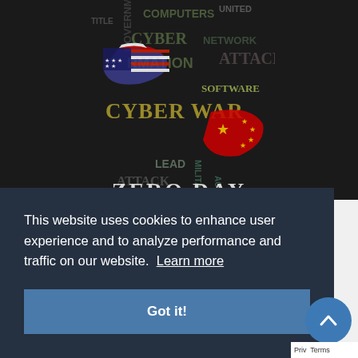[Figure (illustration): Book cover for 'Zero Day' featuring cyber war themed word cloud with US flag and China flag overlaid on a dark background. Words visible include CYBER WAR, COMPUTERS, NETWORK, UNITED, ATTACK, SOFTWARE, MILITARY, ACTIVITIES, LEAD, INFORMATION, GOVERNMENT. Title ZERO DAY appears at the bottom.]
This website uses cookies to enhance user experience and to analyze performance and traffic on our website. Learn more
Got it!